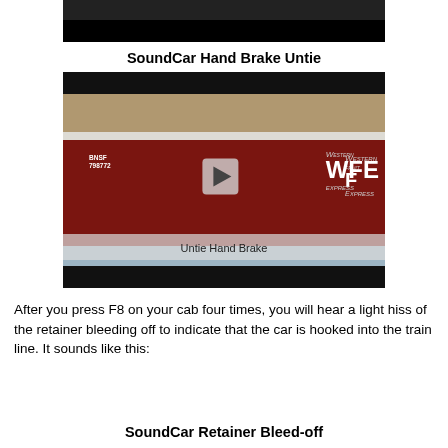[Figure (screenshot): Top portion of a video thumbnail showing a dark/black bar at the top]
SoundCar Hand Brake Untie
[Figure (screenshot): Video thumbnail showing a dark red BNSF 798772 freight train car with 'WFE Western Fruit Express' logo, play button overlay, and subtitle text 'Untie Hand Brake']
After you press F8 on your cab four times, you will hear a light hiss of the retainer bleeding off to indicate that the car is hooked into the train line. It sounds like this:
SoundCar Retainer Bleed-off